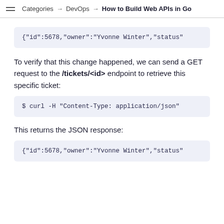Categories → DevOps → How to Build Web APIs in Go
{"id":5678,"owner":"Yvonne Winter","status"
To verify that this change happened, we can send a GET request to the /tickets/<id> endpoint to retrieve this specific ticket:
$ curl -H "Content-Type: application/json"
This returns the JSON response:
{"id":5678,"owner":"Yvonne Winter","status"